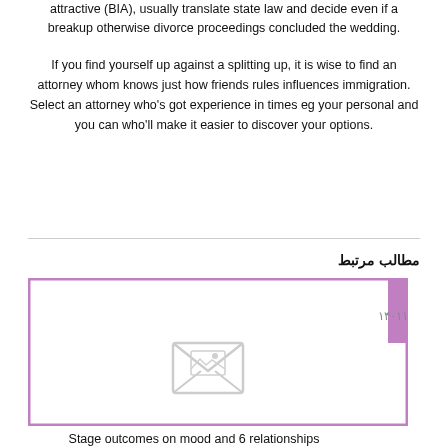attractive (BIA), usually translate state law and decide even if a breakup otherwise divorce proceedings concluded the wedding.
If you find yourself up against a splitting up, it is wise to find an attorney whom knows just how friends rules influences immigration. Select an attorney who's got experience in times eg your personal and you can who'll make it easier to discover your options.
مطالب مرتبط
[Figure (illustration): Card placeholder with envelope/image icon and purple border, date label in Persian: تیر ۱۴۰۱۱۵]
Stage outcomes on mood and 6 relationships